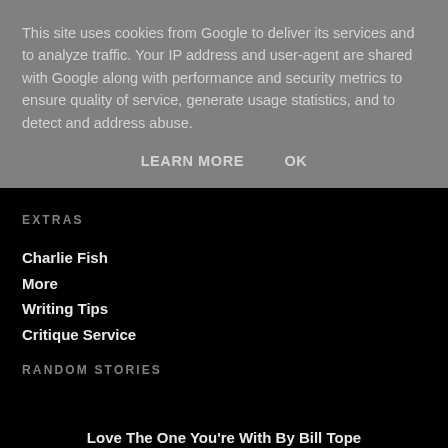This site uses cookies from Google to deliver its services and to analyze traffic. Your IP address and user-agent are shared with Google along with performance and security metrics to ensure quality of service, generate usage statistics, and to detect and address abuse.
LEARN MORE   OK
EXTRAS
Charlie Fish
More
Writing Tips
Critique Service
RANDOM STORIES
Love The One You're With By Bill Tope